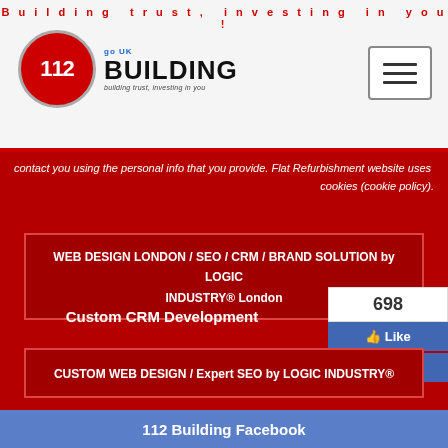Building trust, investing in you!
[Figure (logo): 112 Building logo with red circle containing '112', UK Building text, and tagline 'building trust, investing in you']
[Figure (other): Hamburger menu button (three horizontal lines in a bordered box)]
contact you using the personal info that you provide. Flat Refurbishment website uses cookies (cookie policy).
WEB DESIGN LONDON / SEO / CRM / BRAND SOLUTION by LOGIC INDUSTRY® London
Custom CRM Development
[Figure (other): Facebook like/share widget showing 698 likes, a blue Like button with thumbs up icon, and a blue Share button]
CUSTOM WEB DESIGN / Expert SEO by LOGIC INDUSTRY®
112 Building Facebook